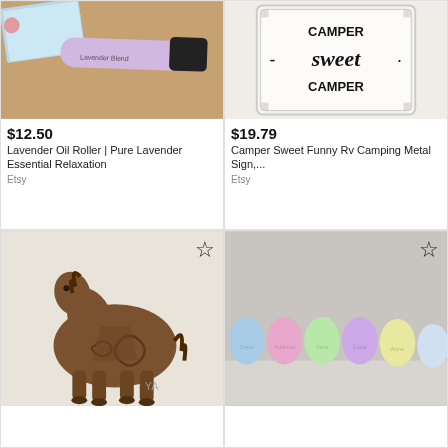[Figure (photo): Lavender Oil Roller product photo - a purple tube with black cap labeled 'Lavender Blend' on a wooden surface with a card nearby]
$12.50
Lavender Oil Roller | Pure Lavender Essential Relaxation
Etsy
[Figure (photo): Camper Sweet Funny Rv Camping Metal Sign - white sign with black text reading 'Camper Sweet Camper' in rustic style]
$19.79
Camper Sweet Funny Rv Camping Metal Sign,...
Etsy
[Figure (photo): Decorative ceramic horse figurine with ornate swirl patterns, brown/bronze colored, with YA watermark]
[Figure (photo): Set of pastel colored Easter egg shaped items in blue, pink, green, purple, and yellow arranged in a row]